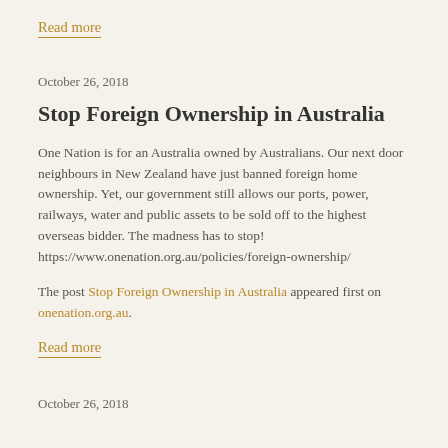Read more
October 26, 2018
Stop Foreign Ownership in Australia
One Nation is for an Australia owned by Australians. Our next door neighbours in New Zealand have just banned foreign home ownership. Yet, our government still allows our ports, power, railways, water and public assets to be sold off to the highest overseas bidder. The madness has to stop! https://www.onenation.org.au/policies/foreign-ownership/
The post Stop Foreign Ownership in Australia appeared first on onenation.org.au.
Read more
October 26, 2018